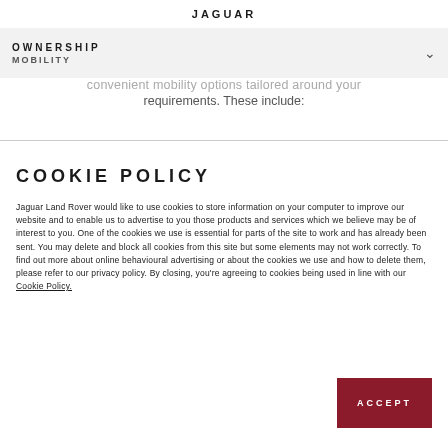JAGUAR
OWNERSHIP MOBILITY
convenient mobility options tailored around your requirements. These include:
COOKIE POLICY
Jaguar Land Rover would like to use cookies to store information on your computer to improve our website and to enable us to advertise to you those products and services which we believe may be of interest to you. One of the cookies we use is essential for parts of the site to work and has already been sent. You may delete and block all cookies from this site but some elements may not work correctly. To find out more about online behavioural advertising or about the cookies we use and how to delete them, please refer to our privacy policy. By closing, you're agreeing to cookies being used in line with our Cookie Policy.
ACCEPT